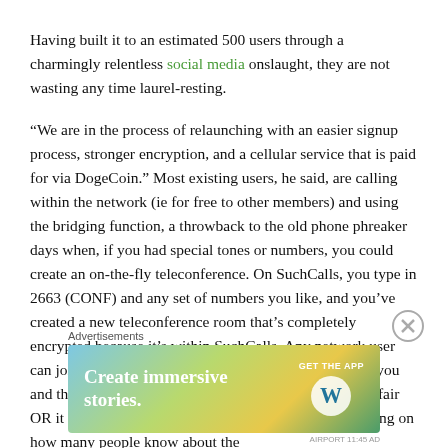Having built it to an estimated 500 users through a charmingly relentless social media onslaught, they are not wasting any time laurel-resting.
“We are in the process of relaunching with an easier signup process, stronger encryption, and a cellular service that is paid for via DogeCoin.” Most existing users, he said, are calling within the network (ie for free to other members) and using the bridging function, a throwback to the old phone phreaker days when, if you had special tones or numbers, you could create an on-the-fly teleconference. On SuchCalls, you type in 2663 (CONF) and any set of numbers you like, and you’ve created a new teleconference room that’s completely encrypted because it’s within SuchCalls. Any network user can join by dialing in to that number, so it could just be you and the hottie with whom you are carrying on a torrid affair OR it could be you, the hottie, and your spouse, depending on how many people know about the
[Figure (other): Advertisement banner: 'Create immersive stories. GET THE APP' with WordPress logo, colorful gradient background (blue, green, yellow).]